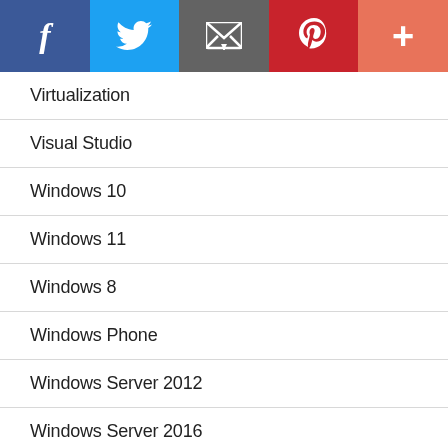[Figure (other): Social sharing bar with Facebook, Twitter, Email, Pinterest, and More buttons]
Virtualization
Visual Studio
Windows 10
Windows 11
Windows 8
Windows Phone
Windows Server 2012
Windows Server 2016
WordPress
WordPress PlugIns